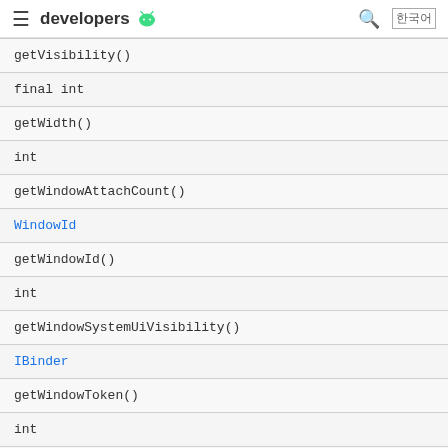developers [android logo]
| getVisibility() |
| final int |
| getWidth() |
| int |
| getWindowAttachCount() |
| WindowId |
| getWindowId() |
| int |
| getWindowSystemUiVisibility() |
| IBinder |
| getWindowToken() |
| int |
| getWindowVisibility() |